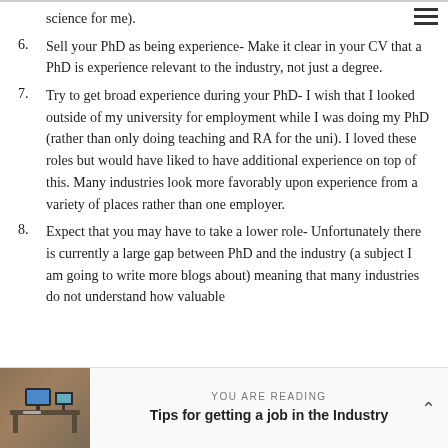science for me).
6. Sell your PhD as being experience- Make it clear in your CV that a PhD is experience relevant to the industry, not just a degree.
7. Try to get broad experience during your PhD- I wish that I looked outside of my university for employment while I was doing my PhD (rather than only doing teaching and RA for the uni). I loved these roles but would have liked to have additional experience on top of this. Many industries look more favorably upon experience from a variety of places rather than one employer.
8. Expect that you may have to take a lower role- Unfortunately there is currently a large gap between PhD and the industry (a subject I am going to write more blogs about) meaning that many industries do not understand how valuable
YOU ARE READING
Tips for getting a job in the Industry